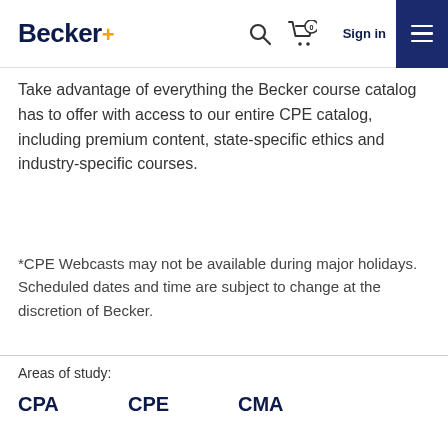Becker+ [logo with search, cart, sign in, menu]
Take advantage of everything the Becker course catalog has to offer with access to our entire CPE catalog, including premium content, state-specific ethics and industry-specific courses.
*CPE Webcasts may not be available during major holidays. Scheduled dates and time are subject to change at the discretion of Becker.
Areas of study:
CPA
CPE
CMA